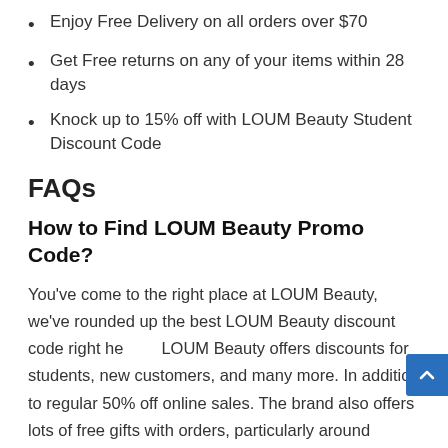Enjoy Free Delivery on all orders over $70
Get Free returns on any of your items within 28 days
Knock up to 15% off with LOUM Beauty Student Discount Code
FAQs
How to Find LOUM Beauty Promo Code?
You've come to the right place at LOUM Beauty, we've rounded up the best LOUM Beauty discount code right here. LOUM Beauty offers discounts for students, new customers, and many more. In addition to regular 50% off online sales. The brand also offers lots of free gifts with orders, particularly around Valentine's Day, Black Friday,